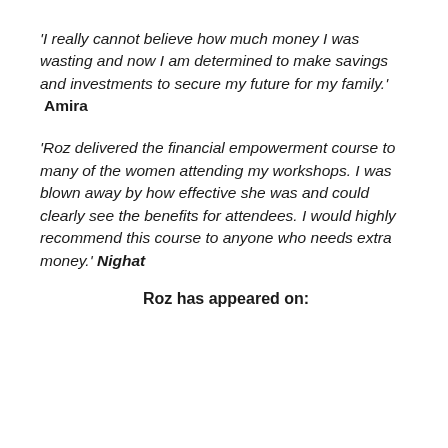'I really cannot believe how much money I was wasting and now I am determined to make savings and investments to secure my future for my family.' Amira
'Roz delivered the financial empowerment course to many of the women attending my workshops. I was blown away by how effective she was and could clearly see the benefits for attendees. I would highly recommend this course to anyone who needs extra money.' Nighat
Roz has appeared on: